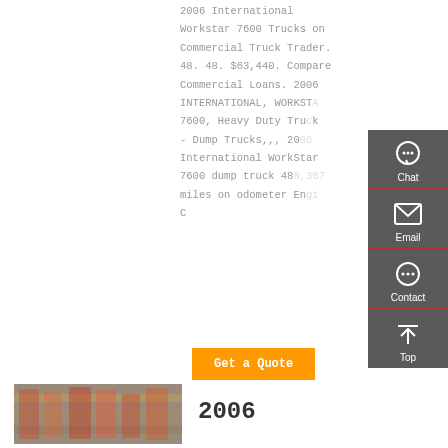2006 International Workstar 7600 Trucks on Commercial Truck Trader. 48. 48. $63,440. Compare Commercial Loans. 2006 INTERNATIONAL, WORKSTAR 7600, Heavy Duty Trucks - Dump Trucks,,, 2006 International WorkStar 7600 dump truck 488,367 miles on odometer Engine C
[Figure (screenshot): Sidebar widget with Chat, Email, Contact, and Top navigation icons on dark gray background]
[Figure (photo): Photo of a truck or vehicle listing]
2006